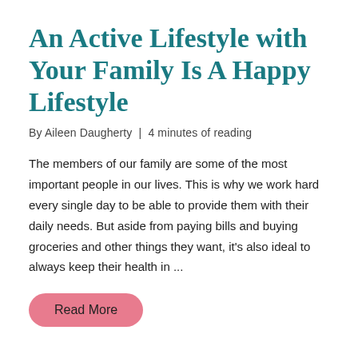An Active Lifestyle with Your Family Is A Happy Lifestyle
By Aileen Daugherty | 4 minutes of reading
The members of our family are some of the most important people in our lives. This is why we work hard every single day to be able to provide them with their daily needs. But aside from paying bills and buying groceries and other things they want, it's also ideal to always keep their health in ...
Read More
1  2  3   Next Page →